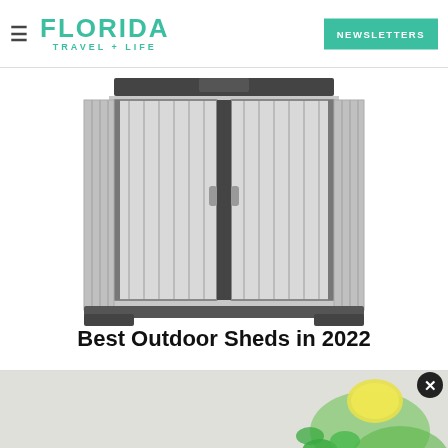FLORIDA TRAVEL + LIFE | NEWSLETTERS
[Figure (photo): Outdoor storage shed with double doors open, plastic gray and dark gray panels, viewed from front]
Best Outdoor Sheds in 2022
[Figure (photo): Cocktail shaker with lemons, mint leaves, and ice — bar tools photo]